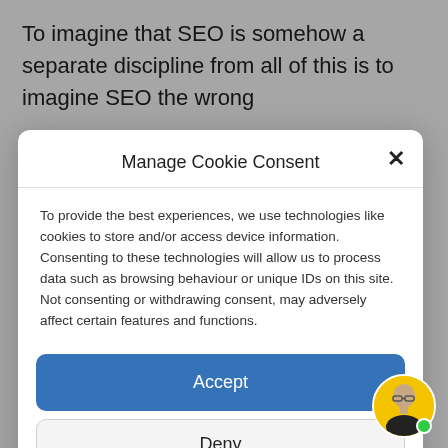To imagine that SEO is somehow a separate discipline from all of this is to imagine SEO the wrong
Manage Cookie Consent
To provide the best experiences, we use technologies like cookies to store and/or access device information. Consenting to these technologies will allow us to process data such as browsing behaviour or unique IDs on this site. Not consenting or withdrawing consent, may adversely affect certain features and functions.
Accept
Deny
View preferences
Cookie Policy   Privacy Statement